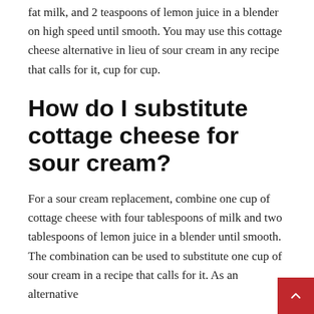fat milk, and 2 teaspoons of lemon juice in a blender on high speed until smooth. You may use this cottage cheese alternative in lieu of sour cream in any recipe that calls for it, cup for cup.
How do I substitute cottage cheese for sour cream?
For a sour cream replacement, combine one cup of cottage cheese with four tablespoons of milk and two tablespoons of lemon juice in a blender until smooth. The combination can be used to substitute one cup of sour cream in a recipe that calls for it. As an alternative